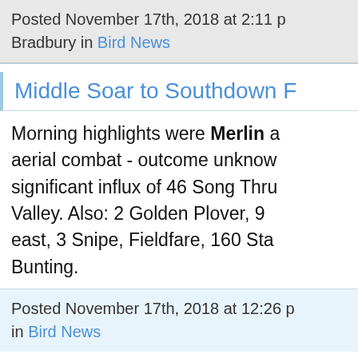Posted November 17th, 2018 at 2:11 pm Bradbury in Bird News
Middle Soar to Southdown F
Morning highlights were Merlin and aerial combat - outcome unknown significant influx of 46 Song Thrush Valley. Also: 2 Golden Plover, 9 east, 3 Snipe, Fieldfare, 160 Starlings Bunting.
Posted November 17th, 2018 at 12:26 in Bird News